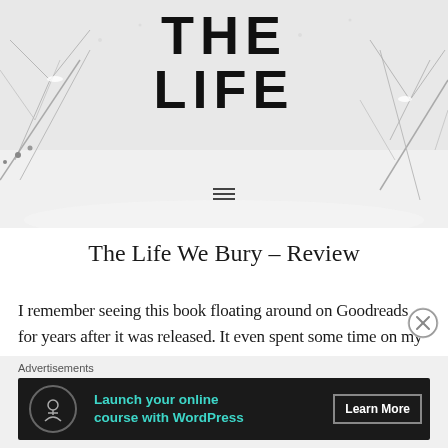[Figure (photo): Header image of snowy winter scene with bare branches and text overlay reading 'THE LIFE' in bold black letters, with a hamburger menu icon below]
The Life We Bury – Review
I remember seeing this book floating around on Goodreads for years after it was released. It even spent some time on my TBR before I attempted to limit books I needed to read. Despite being cut, it found its way back to my shelves with the help of Libro.fm's sale, and I'm glad it did....
Advertisements
[Figure (screenshot): Advertisement banner with dark background showing a tree/person icon, text 'Launch your online course with WordPress' in teal, and a 'Learn More' button]